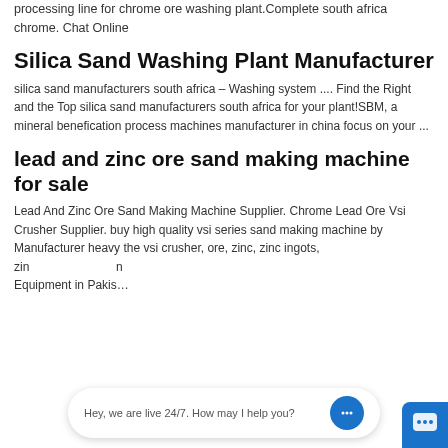processing line for chrome ore washing plant.Complete south africa chrome. Chat Online
Silica Sand Washing Plant Manufacturer
silica sand manufacturers south africa – Washing system .... Find the Right and the Top silica sand manufacturers south africa for your plant!SBM, a mineral benefication process machines manufacturer in china focus on your ...
lead and zinc ore sand making machine for sale
Lead And Zinc Ore Sand Making Machine Supplier. Chrome Lead Ore Vsi Crusher Supplier. buy high quality vsi series sand making machine by Manufacturer heavy the vsi crusher, ore, zinc, zinc ingots, zin... Equipment in Pakis...
Hey, we are live 24/7. How may I help you?